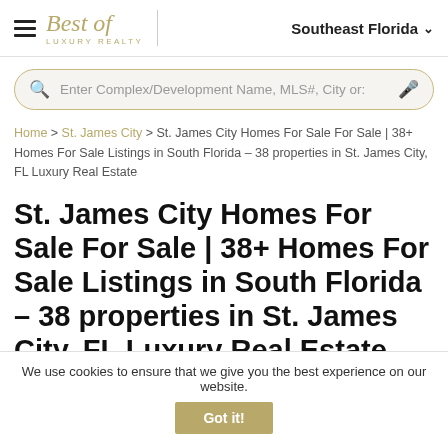Best of Luxury Realty — Southeast Florida
Enter Complex/Development Name, MLS#, City or...
Home > St. James City > St. James City Homes For Sale For Sale | 38+ Homes For Sale Listings in South Florida — 38 properties in St. James City, FL Luxury Real Estate
St. James City Homes For Sale For Sale | 38+ Homes For Sale Listings in South Florida – 38 properties in St. James City, FL Luxury Real Estate
We use cookies to ensure that we give you the best experience on our website. Got it!